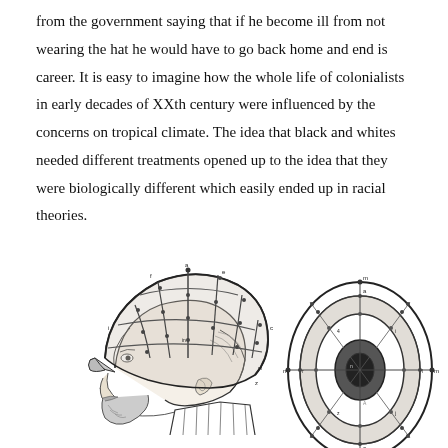from the government saying that if he become ill from not wearing the hat he would have to go back home and end is career. It is easy to imagine how the whole life of colonialists in early decades of XXth century were influenced by the concerns on tropical climate. The idea that black and whites needed different treatments opened up to the idea that they were biologically different which easily ended up in racial theories.
[Figure (illustration): Two illustrations: left shows a side profile of a man wearing a structured colonial helmet/hat with metal ribs and rivets, with a neck flap; right shows a top-down view of the same hat showing its oval/elliptical structure with concentric rings and cross-sectional division lines, all rendered in black and white engraving style.]